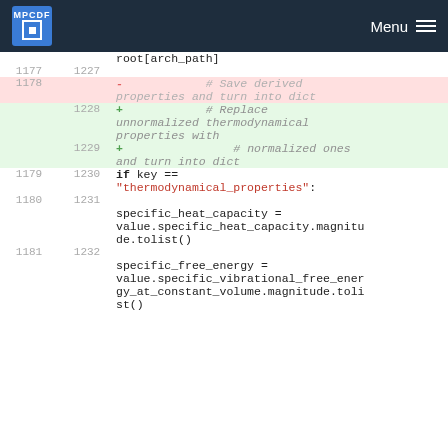MPCDF Menu
[Figure (screenshot): Code diff view showing line numbers and code changes. Lines 1177-1232 with deletions (pink background) and additions (green background). Code shows Python dictionary operations for thermodynamical properties.]